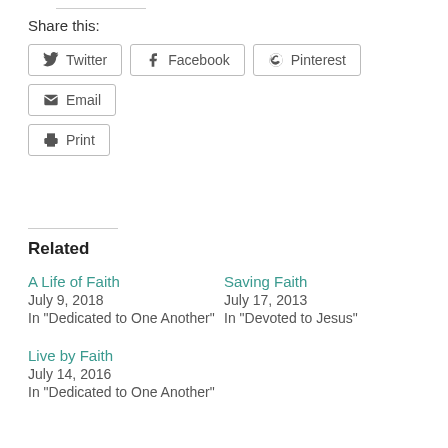Share this:
Twitter
Facebook
Pinterest
Email
Print
Related
A Life of Faith
July 9, 2018
In "Dedicated to One Another"
Saving Faith
July 17, 2013
In "Devoted to Jesus"
Live by Faith
July 14, 2016
In "Dedicated to One Another"